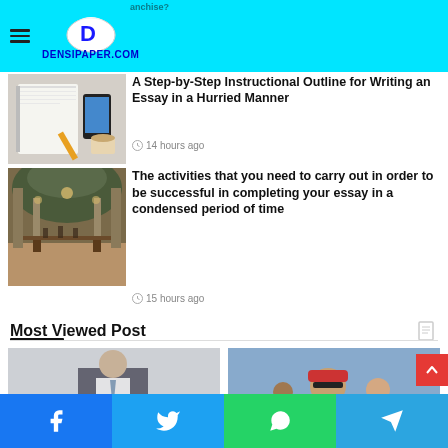[Figure (screenshot): Website header with hamburger menu, circular logo with letter D, and DENSIPAPER.COM text on cyan background]
[Figure (photo): Notebook and pencil on desk - article thumbnail]
A Step-by-Step Instructional Outline for Writing an Essay in a Hurried Manner
14 hours ago
[Figure (photo): Grand library reading room with ornate ceiling - article thumbnail]
The activities that you need to carry out in order to be successful in completing your essay in a condensed period of time
15 hours ago
Most Viewed Post
[Figure (photo): Man in suit - most viewed post thumbnail]
[Figure (photo): Person with sunglasses outdoors - most viewed post thumbnail]
[Figure (screenshot): Social media share bar with Facebook, Twitter, WhatsApp, Telegram buttons]